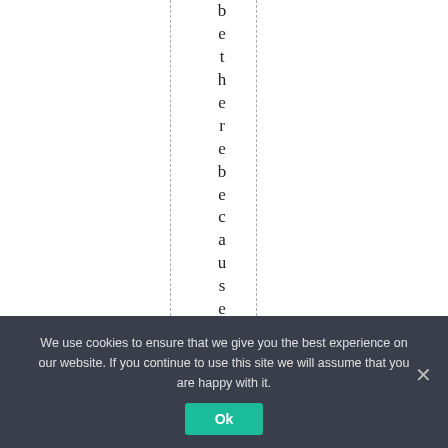b e t h e r e b e c a u s e i f i t
We use cookies to ensure that we give you the best experience on our website. If you continue to use this site we will assume that you are happy with it.